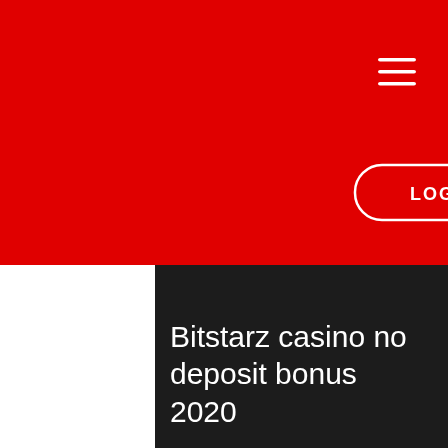[Figure (screenshot): Website header with red background block, dark background, hamburger menu icon (three white horizontal lines) in top right, and a LOG IN button with white rounded border]
Bitstarz casino no deposit bonus 2020